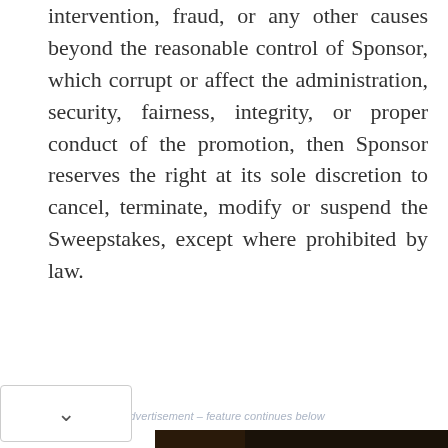intervention, fraud, or any other causes beyond the reasonable control of Sponsor, which corrupt or affect the administration, security, fairness, integrity, or proper conduct of the promotion, then Sponsor reserves the right at its sole discretion to cancel, terminate, modify or suspend the Sweepstakes, except where prohibited by law.
advertisement – feature continues below
[Figure (other): Seamless food delivery advertisement banner showing pizza image on left, red Seamless logo in center, and 'ORDER NOW' button in white box on right, on dark background]